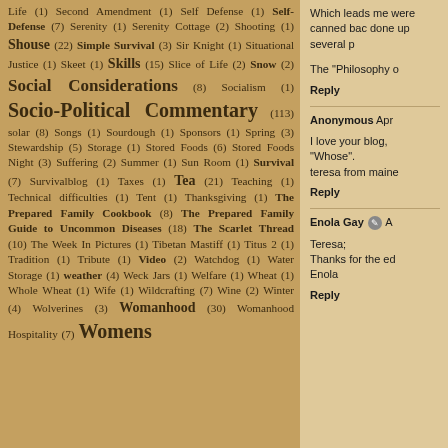Life (1) Second Amendment (1) Self Defense (1) Self-Defense (7) Serenity (1) Serenity Cottage (2) Shooting (1) Shouse (22) Simple Survival (3) Sir Knight (1) Situational Justice (1) Skeet (1) Skills (15) Slice of Life (2) Snow (2) Social Considerations (8) Socialism (1) Socio-Political Commentary (113) solar (8) Songs (1) Sourdough (1) Sponsors (1) Spring (3) Stewardship (5) Storage (1) Stored Foods (6) Stored Foods Night (3) Suffering (2) Summer (1) Sun Room (1) Survival (7) Survivalblog (1) Taxes (1) Tea (21) Teaching (1) Technical difficulties (1) Tent (1) Thanksgiving (1) The Prepared Family Cookbook (8) The Prepared Family Guide to Uncommon Diseases (18) The Scarlet Thread (10) The Week In Pictures (1) Tibetan Mastiff (1) Titus 2 (1) Tradition (1) Tribute (1) Video (2) Watchdog (1) Water Storage (1) weather (4) Weck Jars (1) Welfare (1) Wheat (1) Whole Wheat (1) Wife (1) Wildcrafting (7) Wine (2) Winter (4) Wolverines (3) Womanhood (30) Womanhood Hospitality (7) Womens
Which leads me were canned bac done up several p
The "Philosophy o
Reply
Anonymous Apr
I love your blog, "Whose".
teresa from maine
Reply
Enola Gay A
Teresa;
Thanks for the ed
Enola
Reply